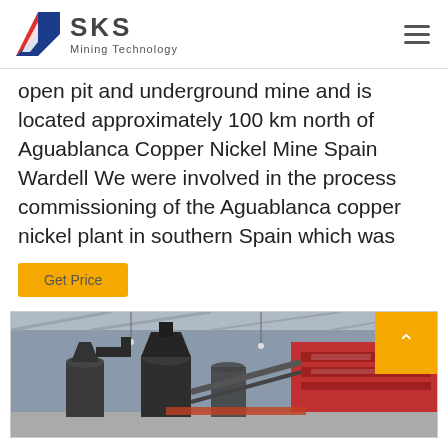SKS Mining Technology
open pit and underground mine and is located approximately 100 km north of Aguablanca Copper Nickel Mine Spain Wardell We were involved in the process commissioning of the Aguablanca copper nickel plant in southern Spain which was
Get Price
[Figure (photo): Interior of a mining or industrial facility showing large industrial equipment (cylindrical/conical mill or separator units) under a metal roof structure, with red machinery visible in the background.]